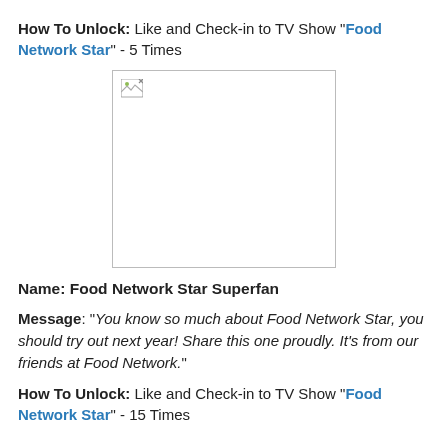How To Unlock: Like and Check-in to TV Show "Food Network Star" - 5 Times
[Figure (other): Broken/missing image placeholder shown as a white box with border and broken image icon in top-left corner]
Name: Food Network Star Superfan
Message: "You know so much about Food Network Star, you should try out next year! Share this one proudly. It's from our friends at Food Network."
How To Unlock: Like and Check-in to TV Show "Food Network Star" - 15 Times